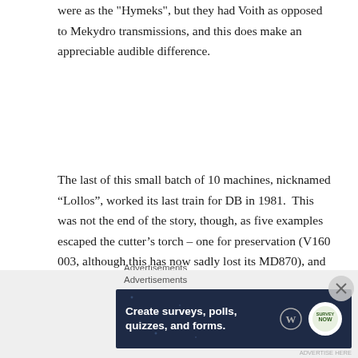were as the "Hymeks", but they had Voith as opposed to Mekydro transmissions, and this does make an appreciable audible difference.
The last of this small batch of 10 machines, nicknamed “Lollos”, worked its last train for DB in 1981.  This was not the end of the story, though, as five examples escaped the cutter’s torch – one for preservation (V160 003, although this has now sadly lost its MD870), and four for private non-passenger use – three of these ended up in Italy, and one, V160 002, in Spain.
Advertisements
[Figure (screenshot): Advertisement banner: dark navy background with text 'Create surveys, polls, quizzes, and forms.' alongside WordPress and Survey Now logos, with a close button (X) overlay.]